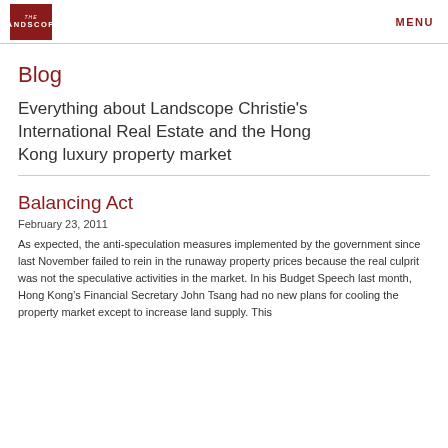LANDSCOPE | MENU
Blog
Everything about Landscope Christie's International Real Estate and the Hong Kong luxury property market
Balancing Act
February 23, 2011
As expected, the anti-speculation measures implemented by the government since last November failed to rein in the runaway property prices because the real culprit was not the speculative activities in the market. In his Budget Speech last month, Hong Kong’s Financial Secretary John Tsang had no new plans for cooling the property market except to increase land supply. This